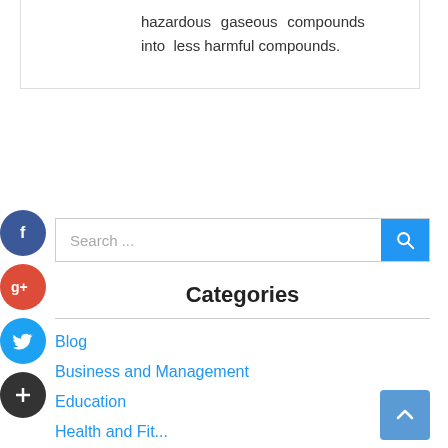hazardous gaseous compounds into less harmful compounds.
[Figure (screenshot): Search bar with blue search button and magnifying glass icon]
[Figure (infographic): Social media icons: Facebook (blue circle), Google+ (red circle), Twitter (blue circle), Plus/Add (dark circle)]
Categories
Blog
Business and Management
Education
Health and Fit...